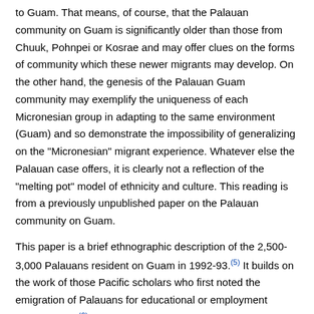to Guam. That means, of course, that the Palauan community on Guam is significantly older than those from Chuuk, Pohnpei or Kosrae and may offer clues on the forms of community which these newer migrants may develop. On the other hand, the genesis of the Palauan Guam community may exemplify the uniqueness of each Micronesian group in adapting to the same environment (Guam) and so demonstrate the impossibility of generalizing on the "Micronesian" migrant experience. Whatever else the Palauan case offers, it is clearly not a reflection of the "melting pot" model of ethnicity and culture. This reading is from a previously unpublished paper on the Palauan community on Guam.
This paper is a brief ethnographic description of the 2,500-3,000 Palauans resident on Guam in 1992-93.(5) It builds on the work of those Pacific scholars who first noted the emigration of Palauans for educational or employment opportunities,(6) and it is of relevance to those currently involved in assessing Pacific/Asian population movements.
Background